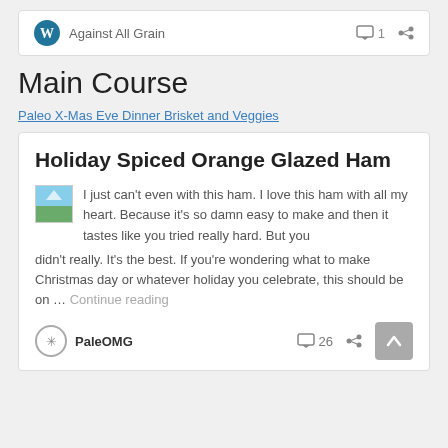Against All Grain  1
Main Course
Paleo X-Mas Eve Dinner Brisket and Veggies
Holiday Spiced Orange Glazed Ham
I just can't even with this ham. I love this ham with all my heart. Because it's so damn easy to make and then it tastes like you tried really hard. But you didn't really. It's the best. If you're wondering what to make Christmas day or whatever holiday you celebrate, this should be on … Continue reading
PaleOMG  26